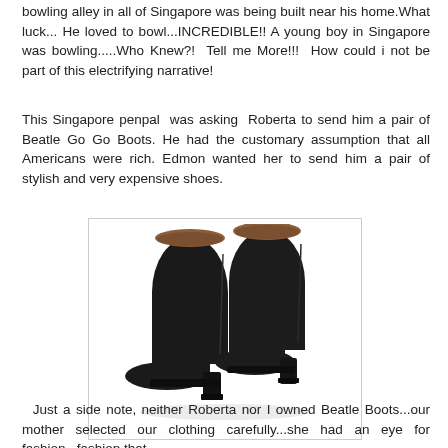bowling alley in all of Singapore was being built near his home.What luck... He loved to bowl...INCREDIBLE!! A young boy in Singapore was bowling.....Who Knew?! Tell me More!!! How could i not be part of this electrifying narrative!
This Singapore penpal was asking Roberta to send him a pair of Beatle Go Go Boots. He had the customary assumption that all Americans were rich. Edmon wanted her to send him a pair of stylish and very expensive shoes.
[Figure (photo): A pair of black leather Chelsea-style ankle boots (Beatle boots) shown against a white background, photographed from a three-quarter angle showing both boots.]
Just a side note, neither Roberta nor I owned Beatle Boots...our mother selected our clothing carefully...she had an eye for fashion...fashion that